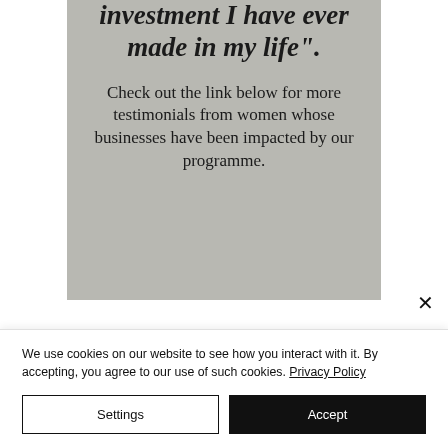investment I have ever made in my life".
Check out the link below for more testimonials from women whose businesses have been impacted by our programme.
We use cookies on our website to see how you interact with it. By accepting, you agree to our use of such cookies. Privacy Policy
Settings
Accept